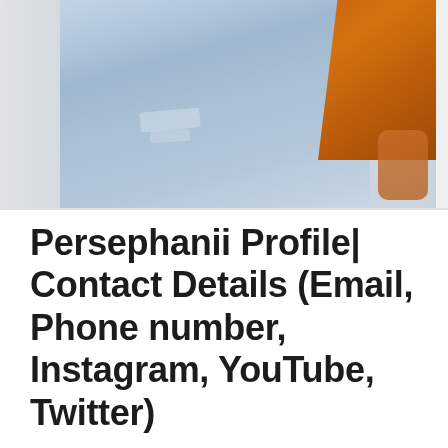[Figure (photo): Photo of a person wearing light blue ripped jeans and an orange/rust knit sweater, cropped to show torso and legs. A chair is visible on the left side of the image.]
Persephanii Profile| Contact Details (Email, Phone number, Instagram, YouTube, Twitter)